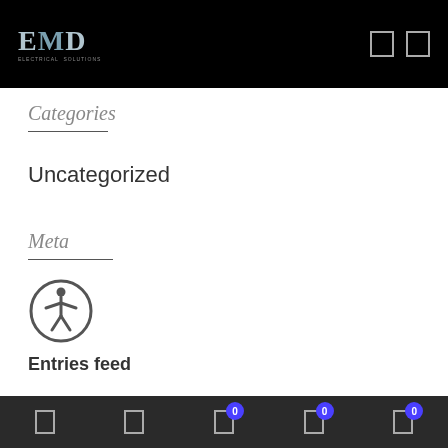EMD
Categories
Uncategorized
Meta
[Figure (illustration): Accessibility icon: person inside a circle]
Entries feed
Bottom navigation toolbar with icons and badges showing 0